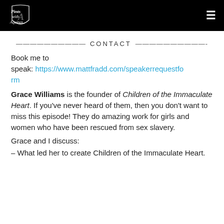[Figure (logo): Pints with Aquinas logo in white on black background, gothic/blackletter style text]
——————————— CONTACT ———————————-
Book me to speak: https://www.mattfradd.com/speakerrequestform
Grace Williams is the founder of Children of the Immaculate Heart. If you've never heard of them, then you don't want to miss this episode! They do amazing work for girls and women who have been rescued from sex slavery.
Grace and I discuss:
– What led her to create Children of the Immaculate Heart.